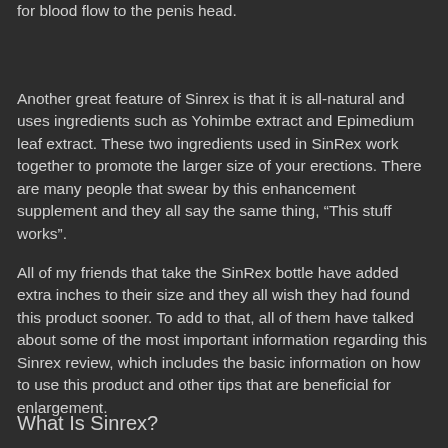for blood flow to the penis head.
Another great feature of Sinrex is that it is all-natural and uses ingredients such as Yohimbe extract and Epimedium leaf extract. These two ingredients used in SinRex work together to promote the larger size of your erections. There are many people that swear by this enhancement supplement and they all say the same thing, “This stuff works”.
All of my friends that take the SinRex bottle have added extra inches to their size and they all wish they had found this product sooner. To add to that, all of them have talked about some of the most important information regarding this Sinrex review, which includes the basic information on how to use this product and other tips that are beneficial for enlargement.
What Is Sinrex?